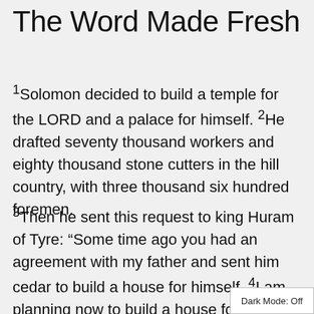The Word Made Fresh
¹Solomon decided to build a temple for the LORD and a palace for himself. ²He drafted seventy thousand workers and eighty thousand stone cutters in the hill country, with three thousand six hundred foremen.
³Then he sent this request to king Huram of Tyre: “Some time ago you had an agreement with my father and sent him cedar to build a house for himself. ⁴I am planning now to build a house for the name of the LORD my God. It will be dedicated to the LORD, an
Dark Mode: Off